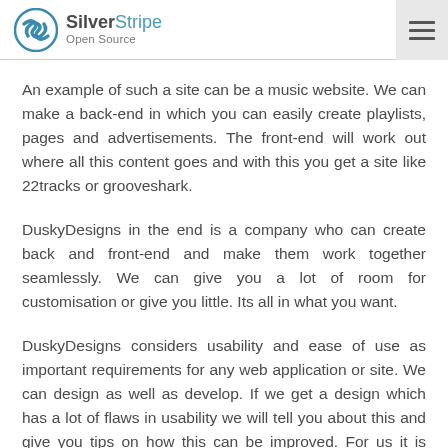SilverStripe Open Source
An example of such a site can be a music website. We can make a back-end in which you can easily create playlists, pages and advertisements. The front-end will work out where all this content goes and with this you get a site like 22tracks or grooveshark.
DuskyDesigns in the end is a company who can create back and front-end and make them work together seamlessly. We can give you a lot of room for customisation or give you little. Its all in what you want.
DuskyDesigns considers usability and ease of use as important requirements for any web application or site. We can design as well as develop. If we get a design which has a lot of flaws in usability we will tell you about this and give you tips on how this can be improved. For us it is important to create web applications that are user friendly, efficient and great to use.